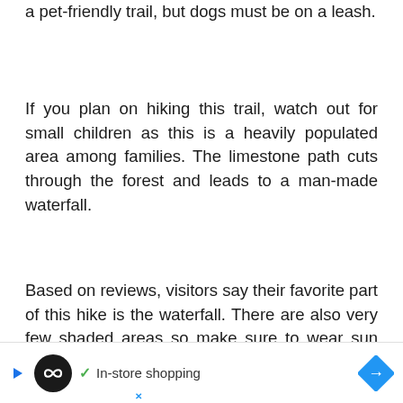a pet-friendly trail, but dogs must be on a leash.
If you plan on hiking this trail, watch out for small children as this is a heavily populated area among families. The limestone path cuts through the forest and leads to a man-made waterfall.
Based on reviews, visitors say their favorite part of this hike is the waterfall. There are also very few shaded areas so make sure to wear sun protection.
Difficulty: Easy
Dist
[Figure (screenshot): Advertisement banner showing a circular black logo with infinity symbol, a checkmark with 'In-store shopping' text, and a blue diamond-shaped arrow button on the right.]